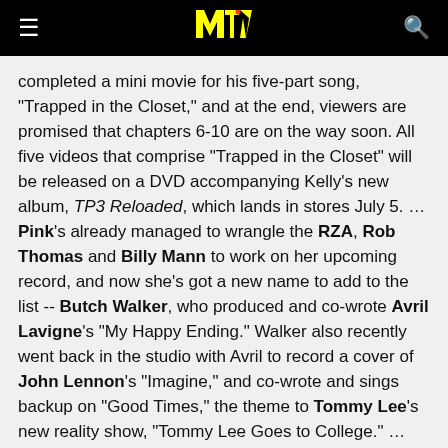MTV
completed a mini movie for his five-part song, "Trapped in the Closet," and at the end, viewers are promised that chapters 6-10 are on the way soon. All five videos that comprise "Trapped in the Closet" will be released on a DVD accompanying Kelly's new album, TP3 Reloaded, which lands in stores July 5. … Pink's already managed to wrangle the RZA, Rob Thomas and Billy Mann to work on her upcoming record, and now she's got a new name to add to the list -- Butch Walker, who produced and co-wrote Avril Lavigne's "My Happy Ending." Walker also recently went back in the studio with Avril to record a cover of John Lennon's "Imagine," and co-wrote and sings backup on "Good Times," the theme to Tommy Lee's new reality show, "Tommy Lee Goes to College." ...
The "last 8 floors" results...